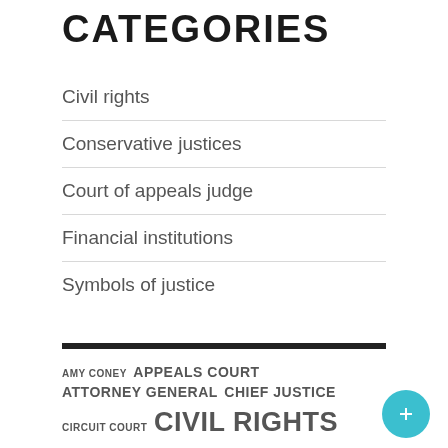CATEGORIES
Civil rights
Conservative justices
Court of appeals judge
Financial institutions
Symbols of justice
AMY CONEY APPEALS COURT ATTORNEY GENERAL CHIEF JUSTICE CIRCUIT COURT CIVIL RIGHTS COURT APPEALS COURT JUDGE DISTRICT COURT DONALD TRUMP HIGH COURT JOE BIDEN PRESIDENT DONALD